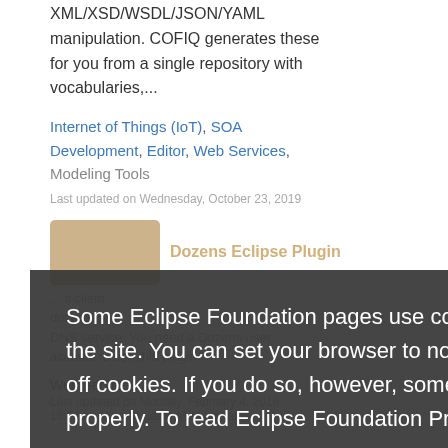XML/XSD/WSDL/JSON/YAML manipulation. COFIQ generates these for you from a single repository with vocabularies,...
Internet of Things (IoT), SOA Development, Editor, Web Services, Modeling Tools
Last updated on Wednesday, October 23, 2019
Dozens Eclipse Plugin
... it client dozens.jp/) DNS service. You need a Dozens user account to use this plugin.
Web Services.
Last updated on Monday, February 4, 2019, 13:52 by Missing name Missing name
Some Eclipse Foundation pages use cookies to better serve you when you return to the site. You can set your browser to notify you before you receive a cookie or turn off cookies. If you do so, however, some areas of some sites may not function properly. To read Eclipse Foundation Privacy Policy click here.
Decline
Allow cookies